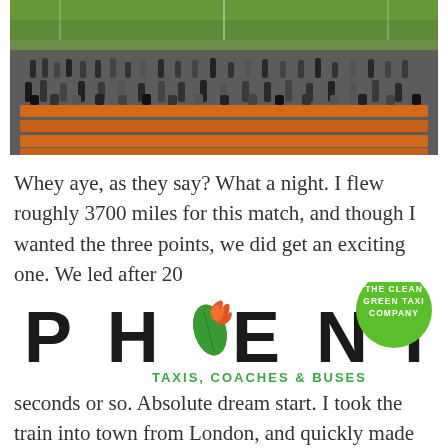[Figure (photo): Football stadium crowd photo showing orange seats partially filled with spectators, with a green pitch visible in the background.]
Whey aye, as they say? What a night. I flew roughly 3700 miles for this match, and though I wanted the three points, we did get an exciting one. We led after 20
[Figure (logo): Phoenix Taxis, Coaches & Buses logo with a green leaf and orange flame forming the letter O, alongside a green circular badge reading 'THE CLEAN GREEN TAXI COMPANY']
seconds or so. Absolute dream start. I took the train into town from London, and quickly made my way to the